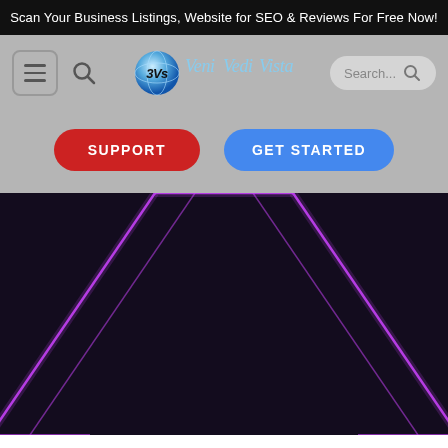Scan Your Business Listings, Website for SEO & Reviews For Free Now!
[Figure (screenshot): Navigation bar with hamburger menu, search icon, 3Vs logo (sphere with 3Vs text), Veni Vedi Vista cursive text logos in light blue, and a search box on the right]
[Figure (infographic): Two buttons: red SUPPORT button and blue GET STARTED button on grey background]
[Figure (illustration): Dark purple/black hero background with glowing purple/magenta hexagonal geometric outlines forming a large hexagon pattern]